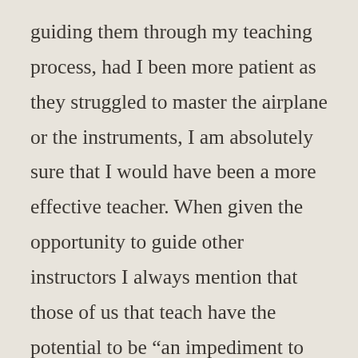guiding them through my teaching process, had I been more patient as they struggled to master the airplane or the instruments, I am absolutely sure that I would have been a more effective teacher. When given the opportunity to guide other instructors I always mention that those of us that teach have the potential to be “an impediment to learning” and if we pack this thought in our flight bag, each time we share the cockpit with a pilot training, our chances